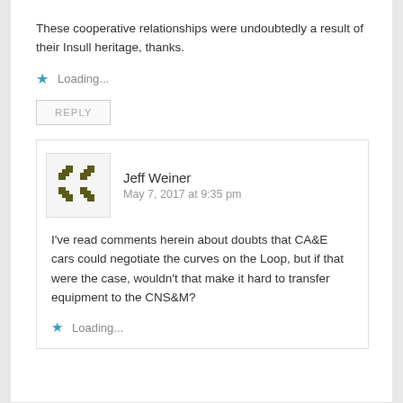These cooperative relationships were undoubtedly a result of their Insull heritage, thanks.
Loading...
REPLY
Jeff Weiner
May 7, 2017 at 9:35 pm
I've read comments herein about doubts that CA&E cars could negotiate the curves on the Loop, but if that were the case, wouldn't that make it hard to transfer equipment to the CNS&M?
Loading...